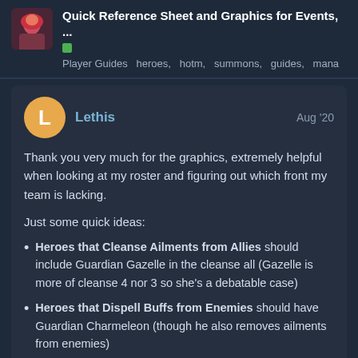Quick Reference Sheet and Graphics for Events, ...
Player Guides  heroes,  hotm,  summons,  guides,  mana
Lethis  Aug '20
Thank you very much for the graphics, extremely helpful when looking at my roster and figuring out which front my team is lacking.
Just some quick ideas:
Heroes that Cleanse Ailments from Allies should include Guardian Gazelle in the cleanse all (Gazelle is more of cleanse 4 nor 3 so she's a debatable case)
Heroes that Dispell Buffs from Enemies should have Guardian Charmeleon (though he also removes ailments from enemies)
16 / 152